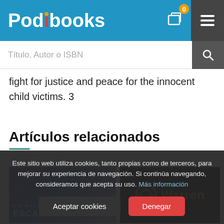Podibooks
Título, Autor o ISBN
fight for justice and peace for the innocent child victims. 3
Artículos relacionados
[Figure (photo): Book cover: Kim Kacoroski - ESCAPE FROM]
[Figure (logo): Warren brand logo on black background with orange circular icon]
Este sitio web utiliza cookies, tanto propias como de terceros, para mejorar su experiencia de navegación. Si continúa navegando, consideramos que acepta su uso. Más información